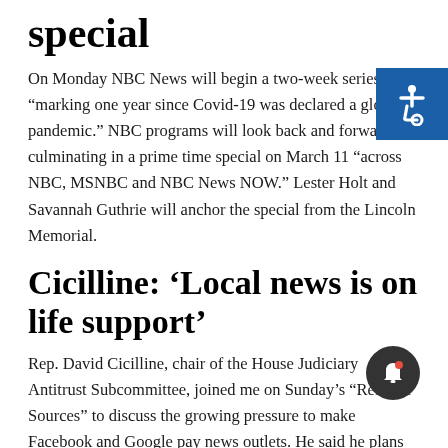special
On Monday NBC News will begin a two-week series “marking one year since Covid-19 was declared a global pandemic.” NBC programs will look back and forward, culminating in a prime time special on March 11 “across NBC, MSNBC and NBC News NOW.” Lester Holt and Savannah Guthrie will anchor the special from the Lincoln Memorial.
Cicilline: ‘Local news is on life support’
Rep. David Cicilline, chair of the House Judiciary Antitrust Subcommittee, joined me on Sunday’s “Reliable Sources” to discuss the growing pressure to make Facebook and Google pay news outlets. He said he plans to reintroduce the Journalism Competition and Preservation Act, which allows publishers “to band together for purposes of negotiating with the two large platforms.” Cicilline also previewed his